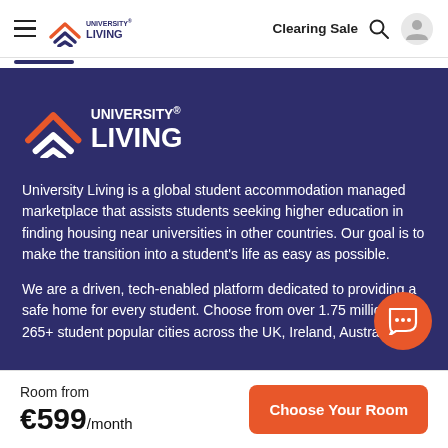University Living — Clearing Sale
[Figure (logo): University Living logo — white on dark blue background, with stylized arrow/book icon and text UNIVERSITY LIVING]
University Living is a global student accommodation managed marketplace that assists students seeking higher education in finding housing near universities in other countries. Our goal is to make the transition into a student's life as easy as possible.
We are a driven, tech-enabled platform dedicated to providing a safe home for every student. Choose from over 1.75 million in 265+ student popular cities across the UK, Ireland, Austra…
Room from €599/month
Choose Your Room